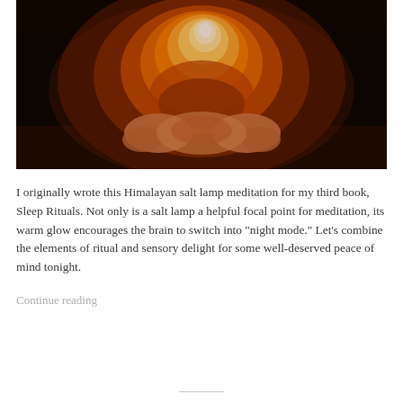[Figure (photo): A close-up photo of a glowing Himalayan salt lamp being held in two hands against a dark background. The lamp emits a warm orange and white glow.]
I originally wrote this Himalayan salt lamp meditation for my third book, Sleep Rituals. Not only is a salt lamp a helpful focal point for meditation, its warm glow encourages the brain to switch into "night mode." Let's combine the elements of ritual and sensory delight for some well-deserved peace of mind tonight.
Continue reading